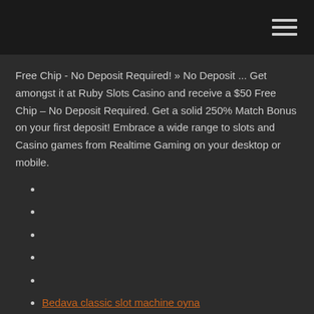Free Chip - No Deposit Required! » No Deposit ... Get amongst it at Ruby Slots Casino and receive a $50 Free Chip – No Deposit Required. Get a solid 250% Match Bonus on your first deposit! Embrace a wide range to slots and Casino games from Realtime Gaming on your desktop or mobile.
Bedava classic slot machine oyna
New moon online free